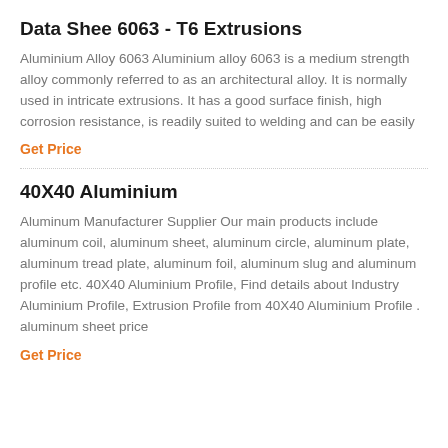Data Shee 6063 - T6 Extrusions
Aluminium Alloy 6063 Aluminium alloy 6063 is a medium strength alloy commonly referred to as an architectural alloy. It is normally used in intricate extrusions. It has a good surface finish, high corrosion resistance, is readily suited to welding and can be easily
Get Price
40X40 Aluminium
Aluminum Manufacturer Supplier Our main products include aluminum coil, aluminum sheet, aluminum circle, aluminum plate, aluminum tread plate, aluminum foil, aluminum slug and aluminum profile etc. 40X40 Aluminium Profile, Find details about Industry Aluminium Profile, Extrusion Profile from 40X40 Aluminium Profile . aluminum sheet price
Get Price